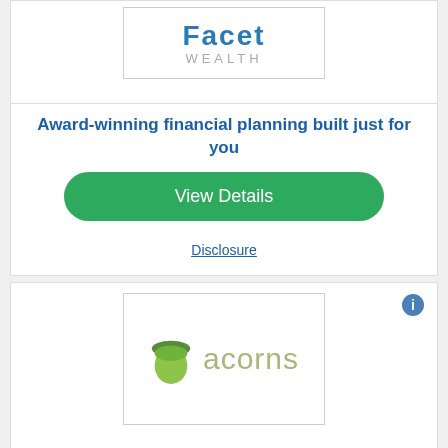[Figure (logo): Facet Wealth logo — stylized blue text 'Facet' with gray 'WEALTH' below, in a white bordered box]
Award-winning financial planning built just for you
View Details
Disclosure
[Figure (logo): Acorns logo — green acorn icon next to the word 'acorns' in olive/tan text, in a white bordered box]
Acorns Helps You Grow Your Money
View Details